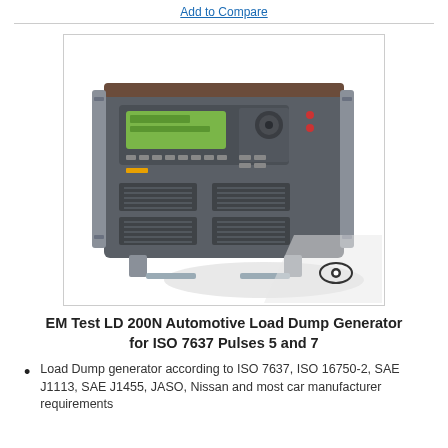Add to Compare
[Figure (photo): EM Test LD 200N Automotive Load Dump Generator — a rack-mounted dark grey instrument with green display, ventilation grilles, front panel controls and red indicator LEDs]
EM Test LD 200N Automotive Load Dump Generator for ISO 7637 Pulses 5 and 7
Load Dump generator according to ISO 7637, ISO 16750-2, SAE J1113, SAE J1455, JASO, Nissan and most car manufacturer requirements